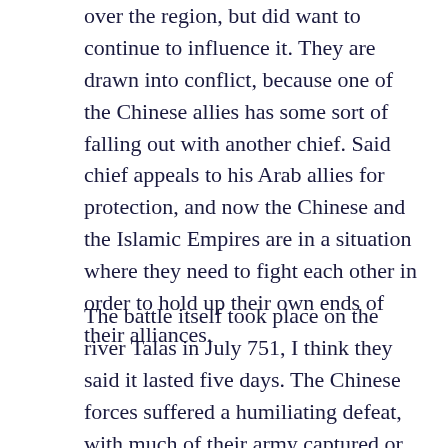over the region, but did want to continue to influence it. They are drawn into conflict, because one of the Chinese allies has some sort of falling out with another chief. Said chief appeals to his Arab allies for protection, and now the Chinese and the Islamic Empires are in a situation where they need to fight each other in order to hold up their own ends of their alliances.
The battle itself took place on the river Talas in July 751, I think they said it lasted five days. The Chinese forces suffered a humiliating defeat, with much of their army captured or killed. Sources on both sides give what the experts think are likely to be highly inflated casualties for the Chinese. The Arab...